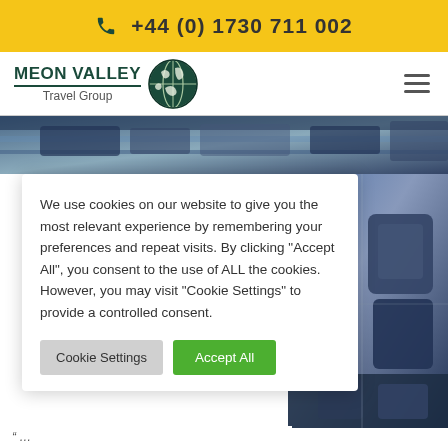+44 (0) 1730 711 002
[Figure (logo): Meon Valley Travel Group logo with globe icon]
[Figure (photo): Airplane cabin seats interior photo]
We use cookies on our website to give you the most relevant experience by remembering your preferences and repeat visits. By clicking "Accept All", you consent to the use of ALL the cookies. However, you may visit "Cookie Settings" to provide a controlled consent.
Cookie Settings  Accept All